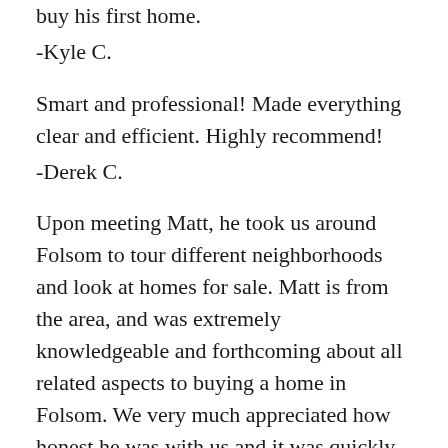buy his first home.
-Kyle C.
Smart and professional! Made everything clear and efficient. Highly recommend!
-Derek C.
Upon meeting Matt, he took us around Folsom to tour different neighborhoods and look at homes for sale. Matt is from the area, and was extremely knowledgeable and forthcoming about all related aspects to buying a home in Folsom. We very much appreciated how honest he was with us and it was quickly apparent how were lucky we were to have Matt as our realtor.
We looked for many months with Matt, and he always made time for us despite our busy schedules. There